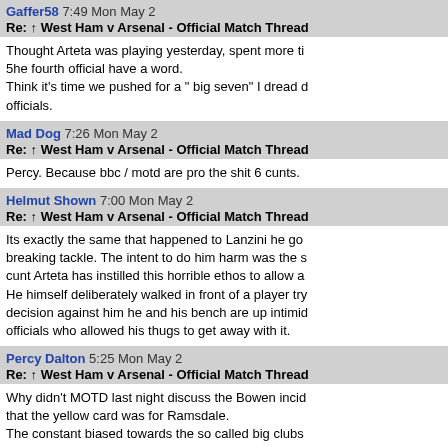Gaffer58 7:49 Mon May 2
Re: ↑ West Ham v Arsenal - Official Match Thread
Thought Arteta was playing yesterday, spent more time... 5he fourth official have a word.
Think it's time we pushed for a " big seven" I dread d... officials.
Mad Dog 7:26 Mon May 2
Re: ↑ West Ham v Arsenal - Official Match Thread
Percy. Because bbc / motd are pro the shit 6 cunts.
Helmut Shown 7:00 Mon May 2
Re: ↑ West Ham v Arsenal - Official Match Thread
Its exactly the same that happened to Lanzini he go... breaking tackle. The intent to do him harm was the s... cunt Arteta has instilled this horrible ethos to allow a... He himself deliberately walked in front of a player try... decision against him he and his bench are up intimi... officials who allowed his thugs to get away with it.
Percy Dalton 5:25 Mon May 2
Re: ↑ West Ham v Arsenal - Official Match Thread
Why didn't MOTD last night discuss the Bowen incid... that the yellow card was for Ramsdale.
The constant biased towards the so called big clubs...
Hopefully in my time the super league comes into fru...
Liverpool now 47 games since a penalty has been a...